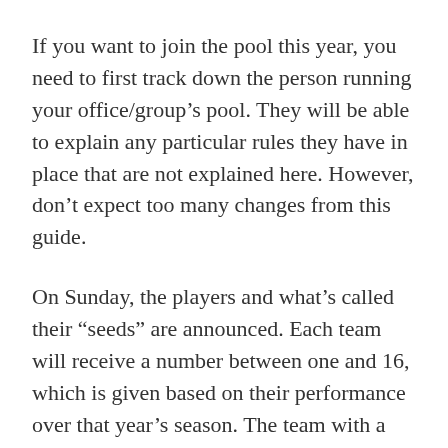If you want to join the pool this year, you need to first track down the person running your office/group’s pool. They will be able to explain any particular rules they have in place that are not explained here. However, don’t expect too many changes from this guide.
On Sunday, the players and what’s called their “seeds” are announced. Each team will receive a number between one and 16, which is given based on their performance over that year’s season. The team with a seed number of one will play the 16th seed, the second will play the 15th and so on. This makes the initial pairings fairly easy to figure out.
Once the top 64 teams are paired up, you need